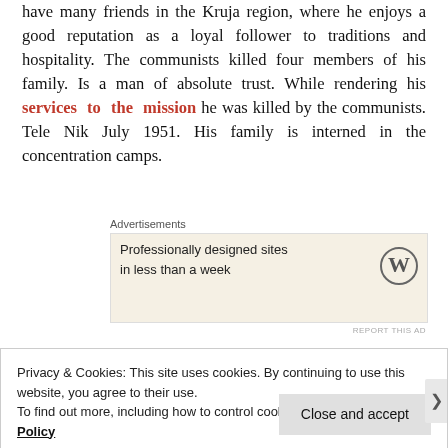have many friends in the Kruja region, where he enjoys a good reputation as a loyal follower to traditions and hospitality. The communists killed four members of his family. Is a man of absolute trust. While rendering his services to the mission he was killed by the communists. Tele Nik July 1951. His family is interned in the concentration camps.
[Figure (other): Advertisement box: 'Professionally designed sites in less than a week' with WordPress logo, on a beige background. Label 'Advertisements' above.]
SYLO PJETER (PJETER MARKA SYLO): Around 55
Privacy & Cookies: This site uses cookies. By continuing to use this website, you agree to their use.
To find out more, including how to control cookies, see here: Cookie Policy